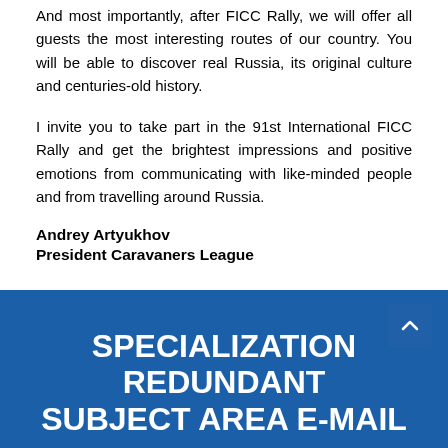And most importantly, after FICC Rally, we will offer all guests the most interesting routes of our country. You will be able to discover real Russia, its original culture and centuries-old history.
I invite you to take part in the 91st International FICC Rally and get the brightest impressions and positive emotions from communicating with like-minded people and from travelling around Russia.
Andrey Artyukhov
President Caravaners League
SPECIALIZATION REDUNDANT SUBJECT AREA E-MAIL